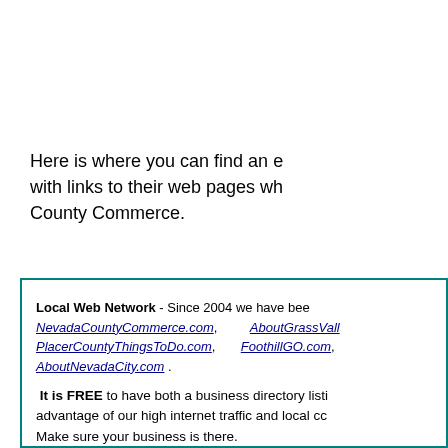Here is where you can find an e with links to their web pages wh County Commerce.
Local Web Network - Since 2004 we have been NevadaCountyCommerce.com, AboutGrassVall PlacerCountyThingsToDo.com, FoothillGO.com, AboutNevadaCity.com .
It is FREE to have both a business directory listi advantage of our high internet traffic and local cc Make sure your business is there.